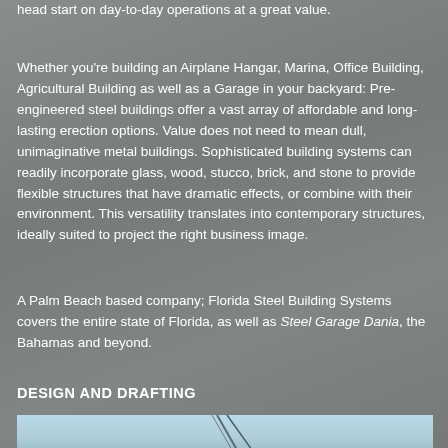head start on day-to-day operations at a great value.
Whether you're building an Airplane Hangar, Marina, Office Building, Agricultural Building as well as a Garage in your backyard: Pre-engineered steel buildings offer a vast array of affordable and long-lasting erection options. Value does not need to mean dull, unimaginative metal buildings. Sophisticated building systems can readily incorporate glass, wood, stucco, brick, and stone to provide flexible structures that have dramatic effects, or combine with their environment. This versatility translates into contemporary structures, ideally suited to project the right business image.
A Palm Beach based company; Florida Steel Building Systems covers the entire state of Florida, as well as Steel Garage Dania, the Bahamas and beyond.
DESIGN AND DRAFTING
[Figure (engineering-diagram): Partial view of a steel building engineering diagram/blueprint with diagonal structural lines on a light blue background]